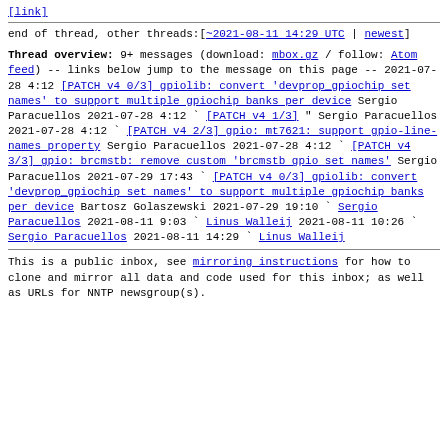[link at top]
end of thread, other threads:[~2021-08-11 14:29 UTC | newest]
Thread overview: 9+ messages (download: mbox.gz / follow: Atom feed)
-- links below jump to the message on this page --
2021-07-28  4:12  [PATCH v4 0/3] gpiolib: convert 'devprop_gpiochip set names' to support multiple gpiochip banks per device  Sergio Paracuellos
2021-07-28  4:12  `  [PATCH v4 1/3]  " Sergio Paracuellos
2021-07-28  4:12  `  [PATCH v4 2/3] gpio: mt7621: support gpio-line-names property  Sergio Paracuellos
2021-07-28  4:12  `  [PATCH v4 3/3] gpio: brcmstb: remove custom 'brcmstb gpio set names'  Sergio Paracuellos
2021-07-29 17:43  `  [PATCH v4 0/3] gpiolib: convert 'devprop_gpiochip set names' to support multiple gpiochip banks per device  Bartosz Golaszewski
2021-07-29 19:10      `  Sergio Paracuellos
2021-08-11  9:03      `  Linus Walleij
2021-08-11 10:26       `  Sergio Paracuellos
2021-08-11 14:29          `  Linus Walleij
This is a public inbox, see mirroring instructions
for how to clone and mirror all data and code used for
this inbox;
as well as URLs for NNTP newsgroup(s).